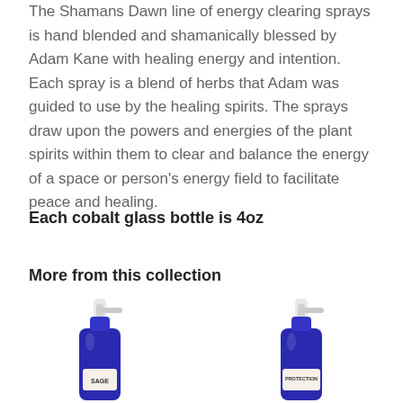The Shamans Dawn line of energy clearing sprays is hand blended and shamanically blessed by Adam Kane with healing energy and intention. Each spray is a blend of herbs that Adam was guided to use by the healing spirits. The sprays draw upon the powers and energies of the plant spirits within them to clear and balance the energy of a space or person's energy field to facilitate peace and healing.
Each cobalt glass bottle is 4oz
More from this collection
[Figure (photo): Two cobalt blue glass spray bottles side by side. Left bottle labeled 'SAGE', right bottle labeled 'PROTECTION'. Both have white spray pump tops.]